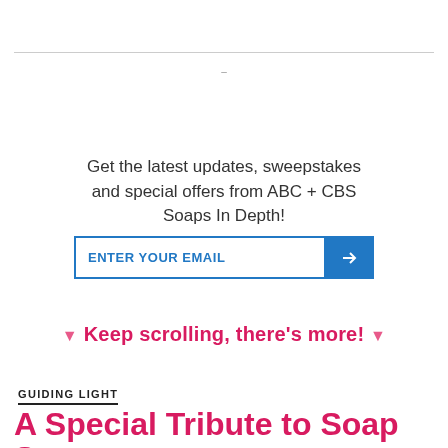Get the latest updates, sweepstakes and special offers from ABC + CBS Soaps In Depth!
[Figure (other): Email subscription form with text input field labeled ENTER YOUR EMAIL and a blue submit button with right arrow]
▼ Keep scrolling, there's more! ▼
GUIDING LIGHT
A Special Tribute to Soap Star